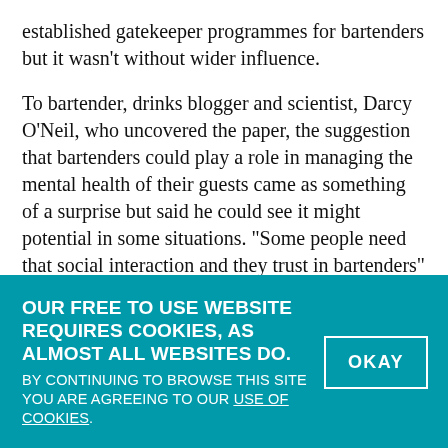established gatekeeper programmes for bartenders but it wasn't without wider influence.
To bartender, drinks blogger and scientist, Darcy O'Neil, who uncovered the paper, the suggestion that bartenders could play a role in managing the mental health of their guests came as something of a surprise but said he could see it might potential in some situations. "Some people need that social interaction and they trust in bartenders" he said. "Once people get to know you they put everything on the table." He said bartenders tended to be able to deal well with the trauma of continually being on the receiving end of drinkers' angst. "You develop the
OUR FREE TO USE WEBSITE REQUIRES COOKIES, AS ALMOST ALL WEBSITES DO. BY CONTINUING TO BROWSE THIS SITE YOU ARE AGREEING TO OUR USE OF COOKIES.